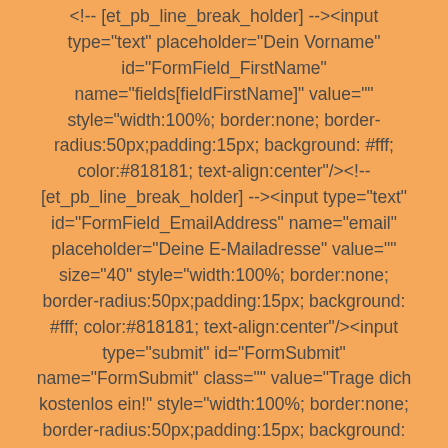name="apikey" value="31vpz19m3z8z9c95" /> <!-- [et_pb_line_break_holder] --><input type="text" placeholder="Dein Vorname" id="FormField_FirstName" name="fields[fieldFirstName]" value="" style="width:100%; border:none; border-radius:50px;padding:15px; background: #fff; color:#818181; text-align:center"/><!-- [et_pb_line_break_holder] --><input type="text" id="FormField_EmailAddress" name="email" placeholder="Deine E-Mailadresse" value="" size="40" style="width:100%; border:none; border-radius:50px;padding:15px; background: #fff; color:#818181; text-align:center"/><input type="submit" id="FormSubmit" name="FormSubmit" class="" value="Trage dich kostenlos ein!" style="width:100%; border:none; border-radius:50px;padding:15px; background: #f1890f; color:white; text-align:center"/>